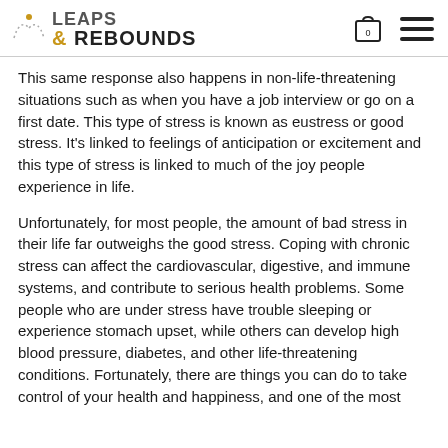Leaps & Rebounds
This same response also happens in non-life-threatening situations such as when you have a job interview or go on a first date. This type of stress is known as eustress or good stress. It's linked to feelings of anticipation or excitement and this type of stress is linked to much of the joy people experience in life.
Unfortunately, for most people, the amount of bad stress in their life far outweighs the good stress. Coping with chronic stress can affect the cardiovascular, digestive, and immune systems, and contribute to serious health problems. Some people who are under stress have trouble sleeping or experience stomach upset, while others can develop high blood pressure, diabetes, and other life-threatening conditions. Fortunately, there are things you can do to take control of your health and happiness, and one of the most